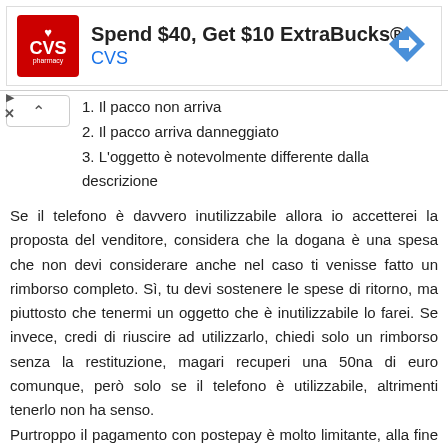[Figure (infographic): CVS Pharmacy advertisement banner: red CVS logo on left, text 'Spend $40, Get $10 ExtraBucks® CVS' in center, blue navigation arrow icon on right]
1. Il pacco non arriva
2. Il pacco arriva danneggiato
3. L'oggetto è notevolmente differente dalla descrizione
Se il telefono è davvero inutilizzabile allora io accetterei la proposta del venditore, considera che la dogana è una spesa che non devi considerare anche nel caso ti venisse fatto un rimborso completo. Sì, tu devi sostenere le spese di ritorno, ma piuttosto che tenermi un oggetto che è inutilizzabile lo farei. Se invece, credi di riuscire ad utilizzarlo, chiedi solo un rimborso senza la restituzione, magari recuperi una 50na di euro comunque, però solo se il telefono è utilizzabile, altrimenti tenerlo non ha senso. Purtroppo il pagamento con postepay è molto limitante, alla fine è come se tu li avessi "donati" quei soldi, la ricarica di un'altra postepay non è considerata da nessuno come pagamento. Stai sempre attento quando utilizzi un metodo così insicuro.